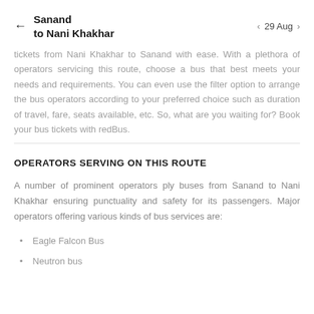Sanand to Nani Khakhar — 29 Aug
tickets from Nani Khakhar to Sanand with ease. With a plethora of operators servicing this route, choose a bus that best meets your needs and requirements. You can even use the filter option to arrange the bus operators according to your preferred choice such as duration of travel, fare, seats available, etc. So, what are you waiting for? Book your bus tickets with redBus.
OPERATORS SERVING ON THIS ROUTE
A number of prominent operators ply buses from Sanand to Nani Khakhar ensuring punctuality and safety for its passengers. Major operators offering various kinds of bus services are:
Eagle Falcon Bus
Neutron bus